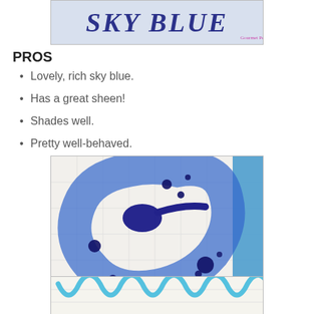[Figure (photo): Calligraphy text in dark blue gothic lettering on a light blue background, with a watermark.]
PROS
Lovely, rich sky blue.
Has a great sheen!
Shades well.
Pretty well-behaved.
[Figure (photo): Close-up photo of blue calligraphy ink showing shading and sheen on grid paper, with dark blue ink dots and a large blue letter form. Watermark visible.]
[Figure (photo): Calligraphy strokes in sky blue ink on lined paper showing the ink color.]